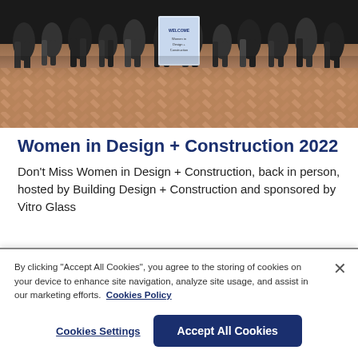[Figure (photo): A group photo of people gathered outdoors on a brick/paved area, seen from waist down, with a welcome sign visible among the crowd. The lower portion shows a herringbone brick pattern.]
Women in Design + Construction 2022
Don't Miss Women in Design + Construction, back in person, hosted by Building Design + Construction and sponsored by Vitro Glass
By clicking "Accept All Cookies", you agree to the storing of cookies on your device to enhance site navigation, analyze site usage, and assist in our marketing efforts.  Cookies Policy
Cookies Settings
Accept All Cookies